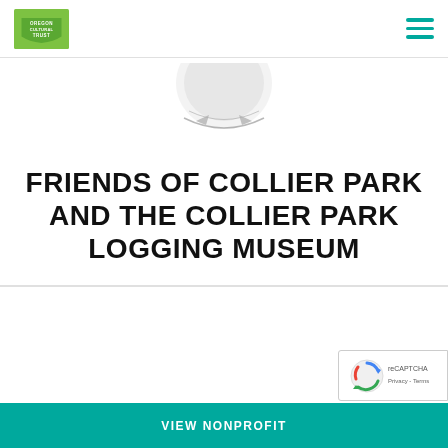Oregon Cultural Trust — navigation header with logo and hamburger menu
[Figure (logo): Partial organization logo/seal visible in white image area]
FRIENDS OF COLLIER PARK AND THE COLLIER PARK LOGGING MUSEUM
...
[Figure (other): reCAPTCHA badge with spinning icon and Privacy - Terms text]
VIEW NONPROFIT